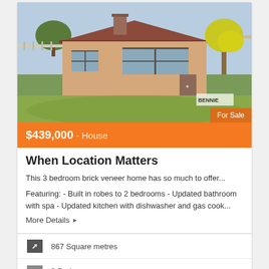[Figure (photo): Exterior photo of a single-storey brick veneer house with a large green lawn, red tile roof, chimney, and a yellow-leafed tree on the right. 'For Sale' badge in bottom-right corner.]
$439,000 - House
When Location Matters
This 3 bedroom brick veneer home has so much to offer...
Featuring: - Built in robes to 2 bedrooms - Updated bathroom with spa - Updated kitchen with dishwasher and gas cook...
More Details ▶
867 Square metres
3 Bedrooms